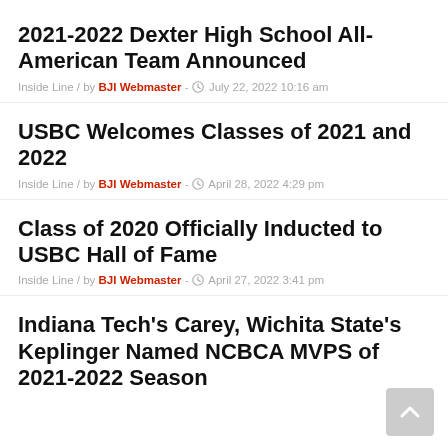2021-2022 Dexter High School All-American Team Announced
Inside Line / by BJI Webmaster - July 22, 2022 10:16 am
USBC Welcomes Classes of 2021 and 2022
Inside Line / by BJI Webmaster - April 28, 2022 4:29 pm
Class of 2020 Officially Inducted to USBC Hall of Fame
Inside Line / by BJI Webmaster - April 27, 2022 3:41 pm
Indiana Tech's Carey, Wichita State's Keplinger Named NCBCA MVPS of 2021-2022 Season